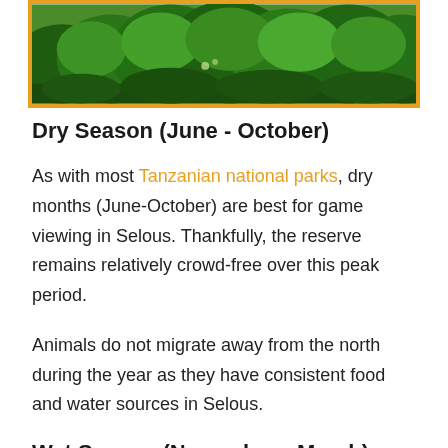[Figure (photo): Green lush hillside covered with dense vegetation and trees, framed with an orange/gold border]
Dry Season (June - October)
As with most Tanzanian national parks, dry months (June-October) are best for game viewing in Selous. Thankfully, the reserve remains relatively crowd-free over this peak period.
Animals do not migrate away from the north during the year as they have consistent food and water sources in Selous.
Wet Season (November - March)